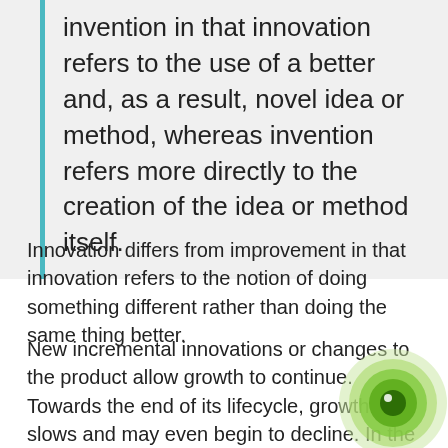invention in that innovation refers to the use of a better and, as a result, novel idea or method, whereas invention refers more directly to the creation of the idea or method itself.
Innovation differs from improvement in that innovation refers to the notion of doing something different rather than doing the same thing better.
New incremental innovations or changes to the product allow growth to continue. Towards the end of its lifecycle, growth slows and may even begin to decline. In the later stages, no amount of new investment
[Figure (illustration): Decorative concentric circles in green tones, resembling a target or eye motif, positioned in the bottom-right corner of the page.]